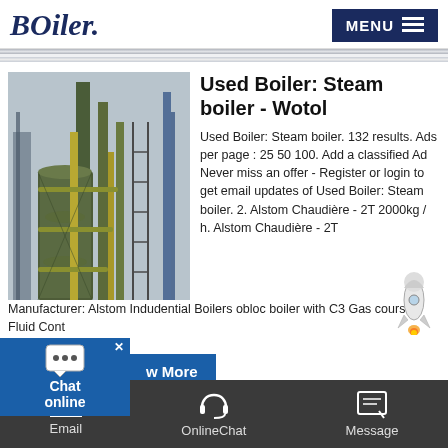BOiler. MENU
[Figure (photo): Industrial steam boilers/chimneys at a plant facility, tall green and yellow pipes/stacks against a sky background with scaffolding]
Used Boiler: Steam boiler - Wotol
Used Boiler: Steam boiler. 132 results. Ads per page : 25 50 100. Add a classified Ad Never miss an offer - Register or login to get email updates of Used Boiler: Steam boiler. 2. Alstom Chaudière - 2T 2000kg / h. Alstom Chaudière - 2T Manufacturer: Alstom Indudential Boilers obloc boiler with C3 Gas course Fluid Cont
w More
Email   OnlineChat   Message